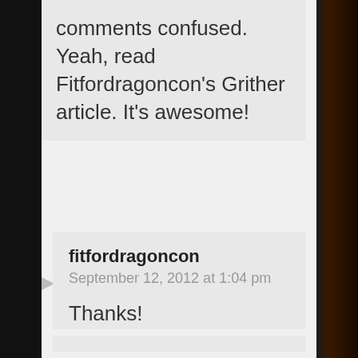comments confused. Yeah, read Fitfordragoncon’s Grither article. It’s awesome!
fitfordragoncon
September 12, 2012 at 1:04 pm

Thanks!